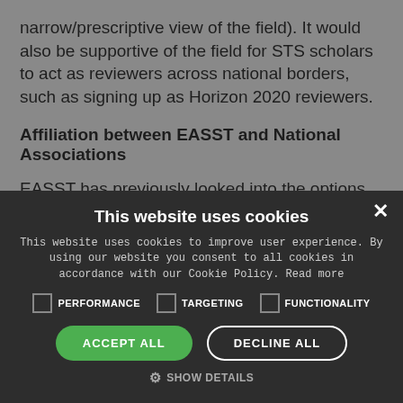narrow/prescriptive view of the field). It would also be supportive of the field for STS scholars to act as reviewers across national borders, such as signing up as Horizon 2020 reviewers.
Affiliation between EASST and National Associations
EASST has previously looked into the options for developing shared membership between national associations and EASST. This was reported to be complicated during the period
[Figure (screenshot): Cookie consent modal overlay on a dark background. Title: 'This website uses cookies'. Body text about cookie policy. Three unchecked checkboxes labeled PERFORMANCE, TARGETING, FUNCTIONALITY. Two buttons: green 'ACCEPT ALL' and outline 'DECLINE ALL'. A gear icon with 'SHOW DETAILS' link. Close X button in top right.]